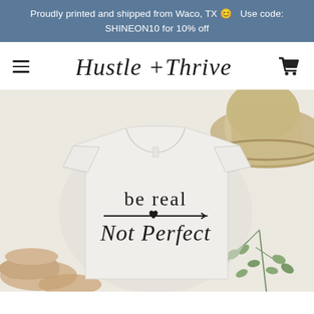Proudly printed and shipped from Waco, TX 😊  Use code: SHINEON10 for 10% off
[Figure (logo): Hustle + Thrive brand logo in cursive/script text with hamburger menu and cart icon]
[Figure (photo): Flat lay photo of a white t-shirt with 'be real Not Perfect' graphic print, accompanied by a tan wide-brim hat, nude flat shoes, and eucalyptus sprigs on a white textured background]